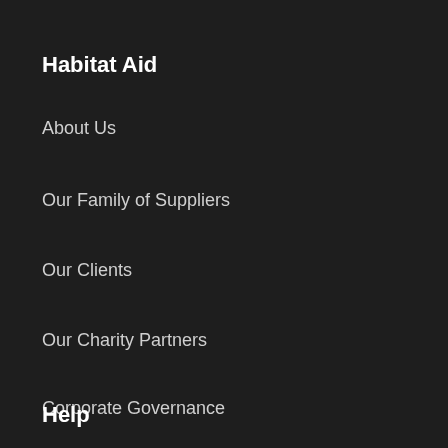Habitat Aid
About Us
Our Family of Suppliers
Our Clients
Our Charity Partners
Corporate Governance
Help